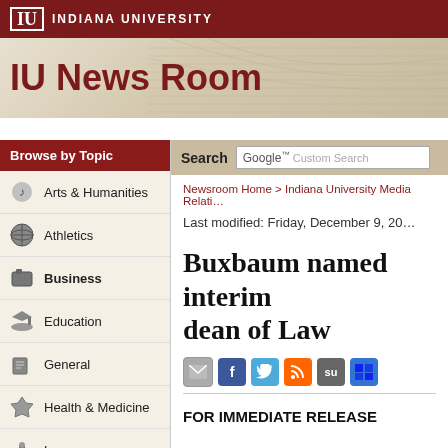INDIANA UNIVERSITY
IU News Room
Browse by Topic
Arts & Humanities
Athletics
Business
Education
General
Health & Medicine
Law
Public & Environmental Affairs
Search  Google™ Custom Search
Newsroom Home > Indiana University Media Relations
Last modified: Friday, December 9, 2011
Buxbaum named interim dean of Law
FOR IMMEDIATE RELEASE